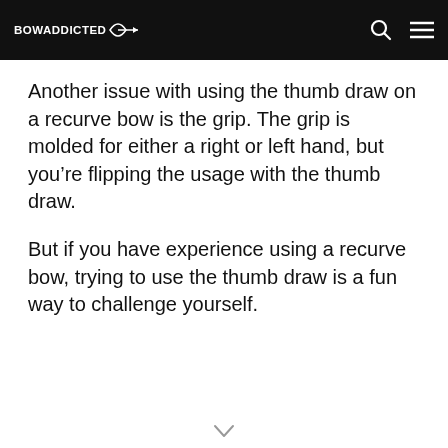BowAddicted
Another issue with using the thumb draw on a recurve bow is the grip. The grip is molded for either a right or left hand, but you’re flipping the usage with the thumb draw.
But if you have experience using a recurve bow, trying to use the thumb draw is a fun way to challenge yourself.